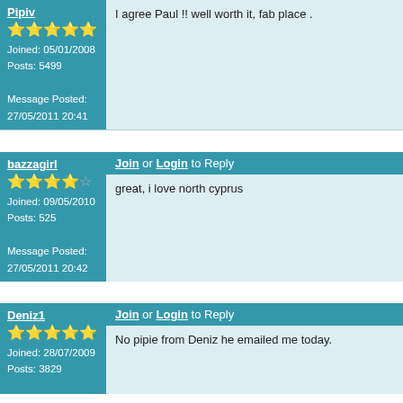Pipiv
★★★★★
Joined: 05/01/2008
Posts: 5499
Message Posted: 27/05/2011 20:41
I agree Paul !! well worth it, fab place .
bazzagirl
★★★★☆
Joined: 09/05/2010
Posts: 525
Message Posted: 27/05/2011 20:42
Join or Login to Reply
great, i love north cyprus
Deniz1
★★★★★
Joined: 28/07/2009
Posts: 3829
Join or Login to Reply
No pipie from Deniz he emailed me today.